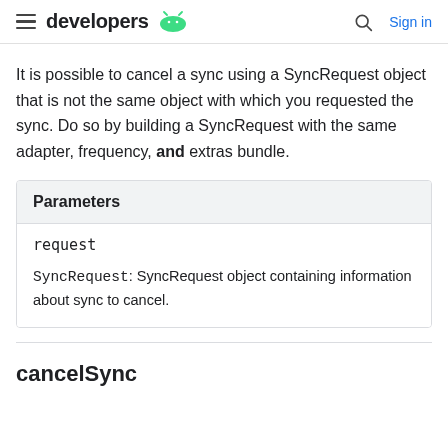developers
It is possible to cancel a sync using a SyncRequest object that is not the same object with which you requested the sync. Do so by building a SyncRequest with the same adapter, frequency, and extras bundle.
| Parameters |
| --- |
| request | SyncRequest: SyncRequest object containing information about sync to cancel. |
cancelSync